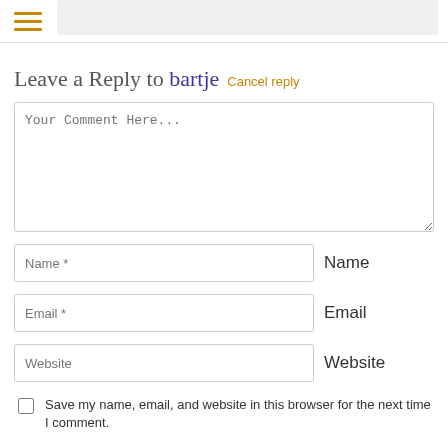[Figure (other): Hamburger menu icon (three horizontal orange lines) and a gray content bar at the top]
Leave a Reply to bartje Cancel reply
Your Comment Here...
Name *
Name
Email *
Email
Website
Website
Save my name, email, and website in this browser for the next time I comment.